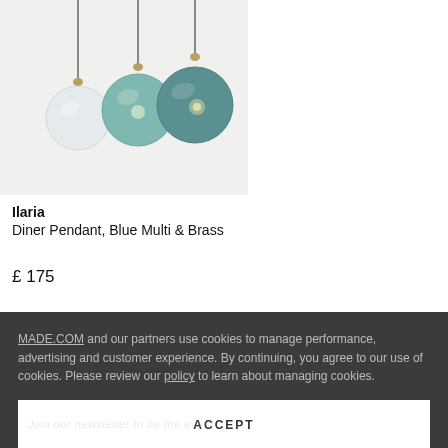[Figure (photo): Three glass globe pendant lights hanging from brass fittings — one clear, one light teal, one darker teal/green — on a light grey background.]
Ilaria
Diner Pendant, Blue Multi & Brass
£ 175
MADE.COM and our partners use cookies to manage performance, advertising and customer experience. By continuing, you agree to our use of cookies. Please review our policy to learn about managing cookies.
ACCEPT